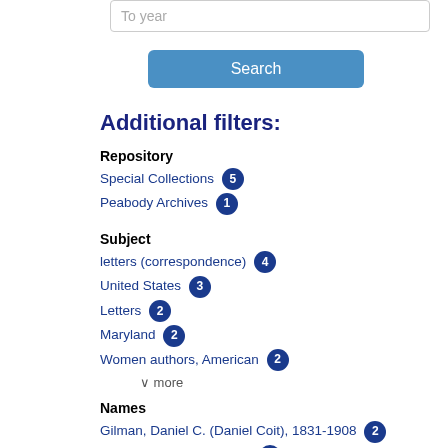To year
Search
Additional filters:
Repository
Special Collections 5
Peabody Archives 1
Subject
letters (correspondence) 4
United States 3
Letters 2
Maryland 2
Women authors, American 2
∨ more
Names
Gilman, Daniel C. (Daniel Coit), 1831-1908 2
Johns Hopkins University 2
Addams, Jane, 1860-1935 1
Antioch College 1